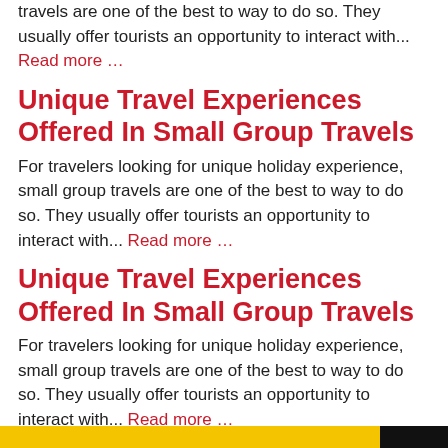travels are one of the best to way to do so. They usually offer tourists an opportunity to interact with... Read more …
Unique Travel Experiences Offered In Small Group Travels
For travelers looking for unique holiday experience, small group travels are one of the best to way to do so. They usually offer tourists an opportunity to interact with... Read more …
Unique Travel Experiences Offered In Small Group Travels
For travelers looking for unique holiday experience, small group travels are one of the best to way to do so. They usually offer tourists an opportunity to interact with... Read more …
Ganesh Chaturthi 2022: Dos and don'ts to follow while performing Ganesh puja
[Figure (other): Partial yellow/black strip at bottom of page]